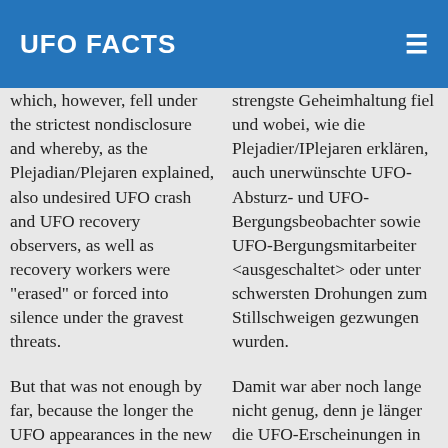UFO FACTS
which, however, fell under the strictest nondisclosure and whereby, as the Plejadian/Plejaren explained, also undesired UFO crash and UFO recovery observers, as well as recovery workers were "erased" or forced into silence under the gravest threats.
strengste Geheimhaltung fiel und wobei, wie die Plejadier/IPlejaren erklären, auch unerwünschte UFO-Absturz- und UFO-Bergungsbeobachter sowie UFO-Bergungsmitarbeiter <ausgeschaltet> oder unter schwersten Drohungen zum Stillschweigen gezwungen wurden.
But that was not enough by far, because the longer the UFO appearances in the new age were observed, the more secretively these were dealt with, and indeed not
Damit war aber noch lange nicht genug, denn je länger die UFO-Erscheinungen in der neuen Zeit beobachtet wurden, desto geheimer wurden diese behandelt, und zwar nicht